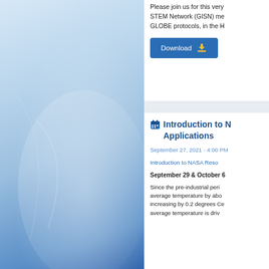[Figure (illustration): Blue gradient decorative panel on the left side of the page with light icy/sky texture and white overlay highlight]
Please join us for this very STEM Network (GISN) me GLOBE protocols, in the H
[Figure (other): Blue Download button with a yellow download/arrow icon]
Introduction to NASA Resource Applications
September 27, 2021 - 4:00 PM
Introduction to NASA Reso...
September 29 & October 6
Since the pre-industrial period, Earth's average temperature by about increasing by 0.2 degrees Ce average temperature is driv